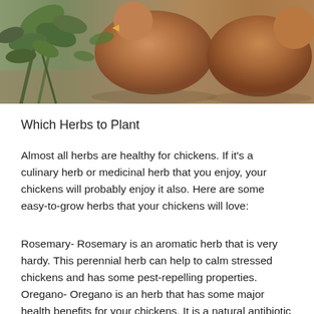[Figure (photo): Photo of brown chickens among green herb plants, viewed from above and close up. The chickens have reddish-brown feathers and are surrounded by leafy green plants.]
Which Herbs to Plant
Almost all herbs are healthy for chickens.  If it’s a culinary herb or medicinal herb that you enjoy, your chickens will probably enjoy it also.  Here are some easy-to-grow herbs that your chickens will love:
Rosemary- Rosemary is an aromatic herb that is very hardy.  This perennial herb can help to calm stressed chickens and has some pest-repelling properties.
Oregano- Oregano is an herb that has some major health benefits for your chickens.  It is a natural antibiotic and can replace